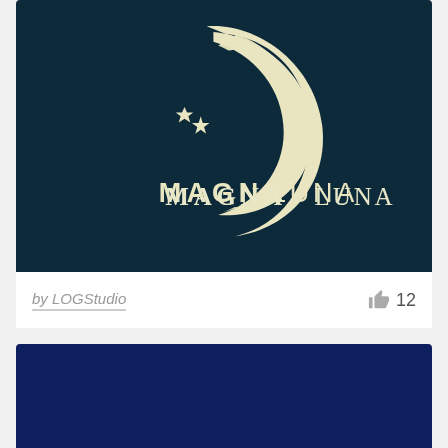[Figure (logo): Magna Luna logo: crescent moon with a female face profile and a small star, cream/yellow color on dark navy background, with text MAGNA LUNA below in spaced uppercase letters]
by LOGStudio
12
[Figure (photo): Dark navy blue background, bottom portion of another logo/image card, mostly dark navy color]